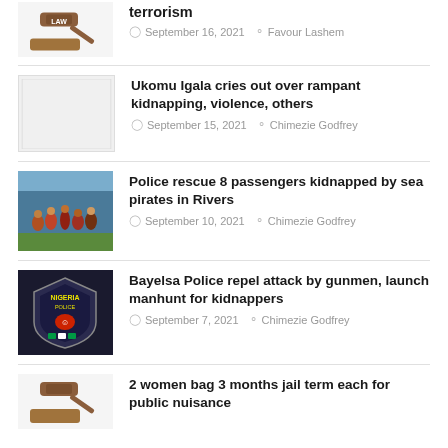[Figure (illustration): Law gavel with 'LAW' text on wooden block]
terrorism
September 16, 2021   Favour Lashem
[Figure (illustration): Blank/white placeholder image]
Ukomu Igala cries out over rampant kidnapping, violence, others
September 15, 2021   Chimezie Godfrey
[Figure (photo): Group of people standing outdoors near a vehicle]
Police rescue 8 passengers kidnapped by sea pirates in Rivers
September 10, 2021   Chimezie Godfrey
[Figure (logo): Nigeria Police badge/shield logo]
Bayelsa Police repel attack by gunmen, launch manhunt for kidnappers
September 7, 2021   Chimezie Godfrey
[Figure (illustration): Law gavel illustration]
2 women bag 3 months jail term each for public nuisance